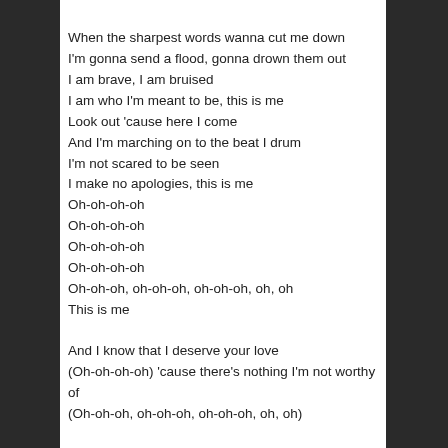When the sharpest words wanna cut me down
I'm gonna send a flood, gonna drown them out
I am brave, I am bruised
I am who I'm meant to be, this is me
Look out 'cause here I come
And I'm marching on to the beat I drum
I'm not scared to be seen
I make no apologies, this is me
Oh-oh-oh-oh
Oh-oh-oh-oh
Oh-oh-oh-oh
Oh-oh-oh-oh
Oh-oh-oh, oh-oh-oh, oh-oh-oh, oh, oh
This is me

And I know that I deserve your love
(Oh-oh-oh-oh) 'cause there's nothing I'm not worthy of
(Oh-oh-oh, oh-oh-oh, oh-oh-oh, oh, oh)